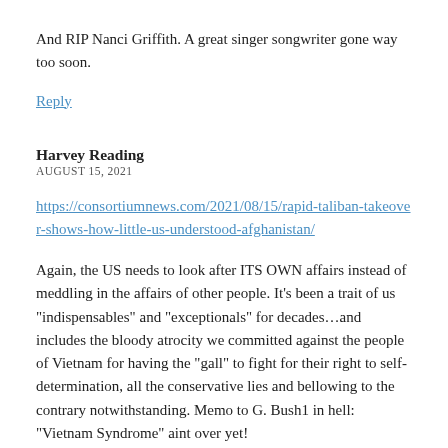And RIP Nanci Griffith. A great singer songwriter gone way too soon.
Reply
Harvey Reading
AUGUST 15, 2021
https://consortiumnews.com/2021/08/15/rapid-taliban-takeover-shows-how-little-us-understood-afghanistan/
Again, the US needs to look after ITS OWN affairs instead of meddling in the affairs of other people. It’s been a trait of us “indispensables” and “exceptionals” for decades…and includes the bloody atrocity we committed against the people of Vietnam for having the “gall” to fight for their right to self-determination, all the conservative lies and bellowing to the contrary notwithstanding. Memo to G. Bush1 in hell: “Vietnam Syndrome” aint over yet!
Reply